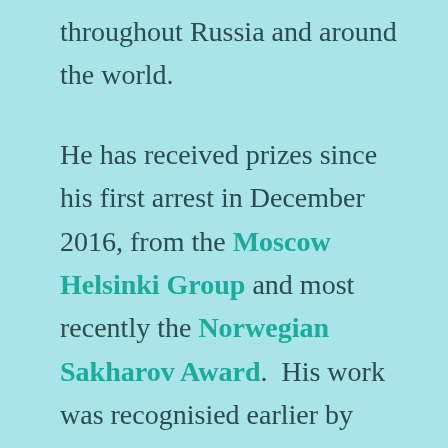throughout Russia and around the world.
He has received prizes since his first arrest in December 2016, from the Moscow Helsinki Group and most recently the Norwegian Sakharov Award.  His work was recognisied earlier by awards in Russia (2005),